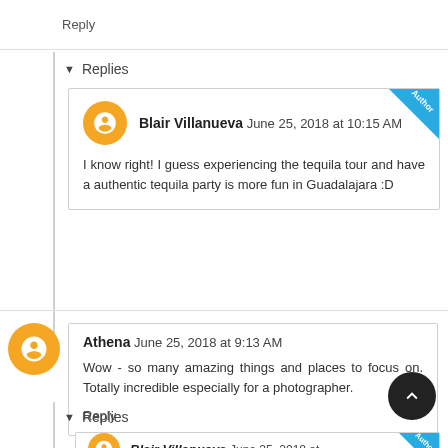Reply
▼ Replies
Blair Villanueva June 25, 2018 at 10:15 AM
I know right! I guess experiencing the tequila tour and have a authentic tequila party is more fun in Guadalajara :D
Athena June 25, 2018 at 9:13 AM
Wow - so many amazing things and places to focus on. Totally incredible especially for a photographer.
Reply
▼ Replies
Blair Villanueva June 25, 2018 at